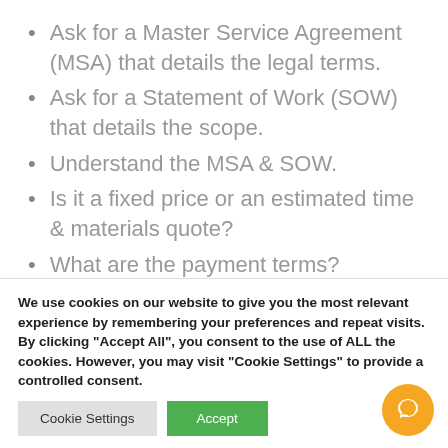Ask for a Master Service Agreement (MSA) that details the legal terms.
Ask for a Statement of Work (SOW) that details the scope.
Understand the MSA & SOW.
Is it a fixed price or an estimated time & materials quote?
What are the payment terms?
Can you work with the consultant – are they a good fit?
We use cookies on our website to give you the most relevant experience by remembering your preferences and repeat visits. By clicking "Accept All", you consent to the use of ALL the cookies. However, you may visit "Cookie Settings" to provide a controlled consent.